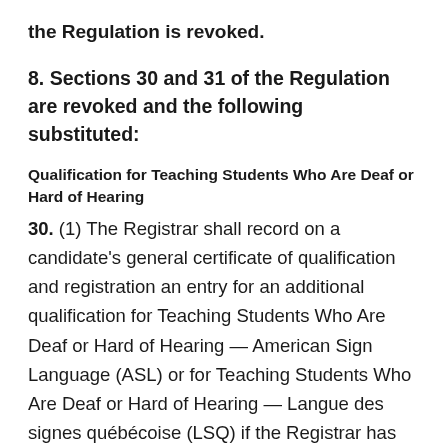the Regulation is revoked.
8. Sections 30 and 31 of the Regulation are revoked and the following substituted:
Qualification for Teaching Students Who Are Deaf or Hard of Hearing
30. (1) The Registrar shall record on a candidate's general certificate of qualification and registration an entry for an additional qualification for Teaching Students Who Are Deaf or Hard of Hearing — American Sign Language (ASL) or for Teaching Students Who Are Deaf or Hard of Hearing — Langue des signes québécoise (LSQ) if the Registrar has satisfactory evidence that,
(a) the candidate has successfully completed